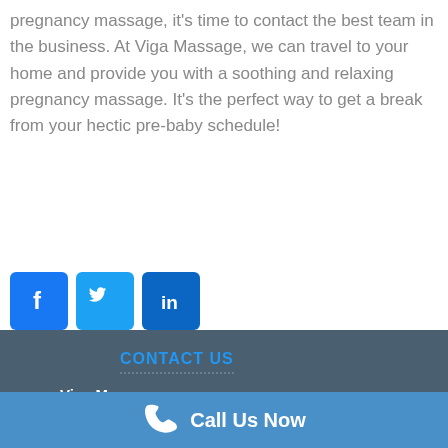pregnancy massage, it's time to contact the best team in the business. At Viga Massage, we can travel to your home and provide you with a soothing and relaxing pregnancy massage. It's the perfect way to get a break from your hectic pre-baby schedule!
[Figure (logo): Social media icons: Facebook (blue), Twitter (blue), LinkedIn (blue)]
CONTACT US
Viga Massage
Tel: 1800 870 834
Email: hello@vigamassage.com.au
Call Us Now